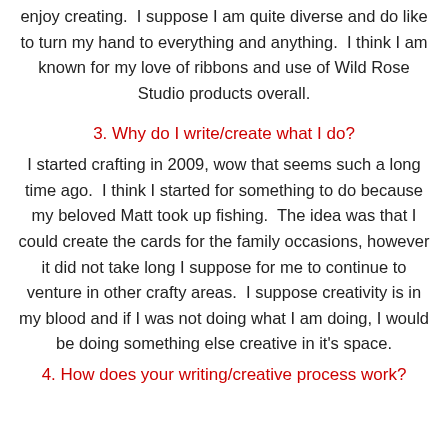enjoy creating.  I suppose I am quite diverse and do like to turn my hand to everything and anything.  I think I am known for my love of ribbons and use of Wild Rose Studio products overall.
3. Why do I write/create what I do?
I started crafting in 2009, wow that seems such a long time ago.  I think I started for something to do because my beloved Matt took up fishing.  The idea was that I could create the cards for the family occasions, however it did not take long I suppose for me to continue to venture in other crafty areas.  I suppose creativity is in my blood and if I was not doing what I am doing, I would be doing something else creative in it's space.
4. How does your writing/creative process work?